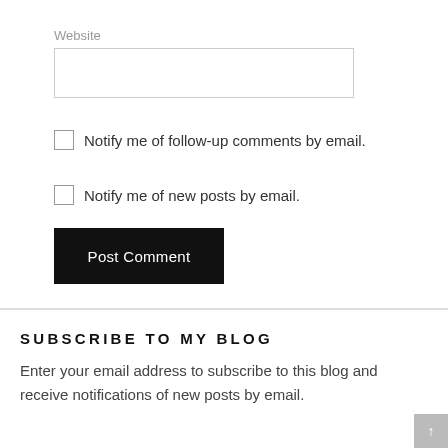Website
Notify me of follow-up comments by email.
Notify me of new posts by email.
Post Comment
SUBSCRIBE TO MY BLOG
Enter your email address to subscribe to this blog and receive notifications of new posts by email.